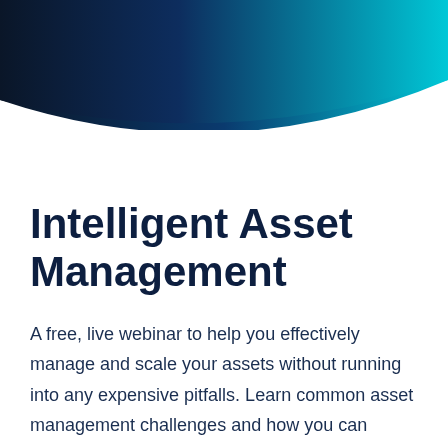[Figure (illustration): Decorative header graphic with dark navy blue on the left fading to bright cyan/teal on the right, forming a curved gradient band across the top of the page.]
Intelligent Asset Management
A free, live webinar to help you effectively manage and scale your assets without running into any expensive pitfalls. Learn common asset management challenges and how you can